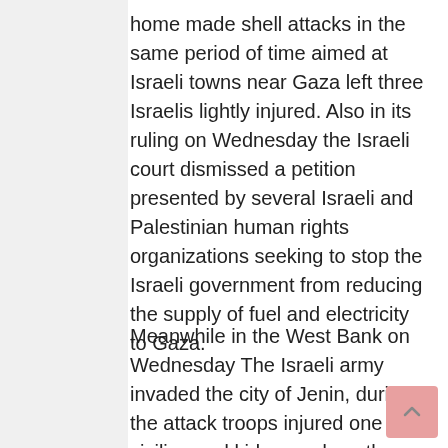home made shell attacks in the same period of time aimed at Israeli towns near Gaza left three Israelis lightly injured. Also in its ruling on Wednesday the Israeli court dismissed a petition presented by several Israeli and Palestinian human rights organizations seeking to stop the Israeli government from reducing the supply of fuel and electricity to Gaza.
Meanwhile in the West Bank on Wednesday The Israeli army invaded the city of Jenin, during the attack troops injured one civilian and kidnapped another four. Witnesses said that undercover Israeli soldiers invaded Jenin city, they surrounded and searched a house that belongs to Ali Al Sous, later ten Israeli military jeeps followed the undercover forces; troops